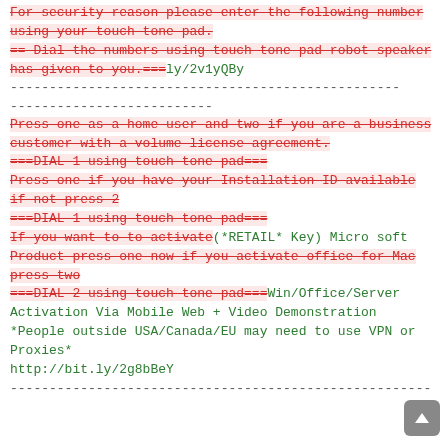For security reason please enter the following number using your touch tone pad.
== Dial the numbers using touch tone pad robot speaker has given to you.===ly/2v1yQBy
--------------------------------------------------------------------------
--------------------------
Press one as a home user and two if you are a business customer with a volume license agreement.
===DIAL 1 using touch tone pad===
Press one if you have your Installation ID available if not press 2
===DIAL 1 using touch tone pad===
If you want to to activate(*RETAIL* Key) Microsoft Product press one now if you activate office for Mac press two
===DIAL 2 using touch tone pad===Win/Office/Server Activation Via Mobile Web + Video Demonstration
*People outside USA/Canada/EU may need to use VPN or Proxies*
http://bit.ly/2g8bBeY
------------------------------------------------------